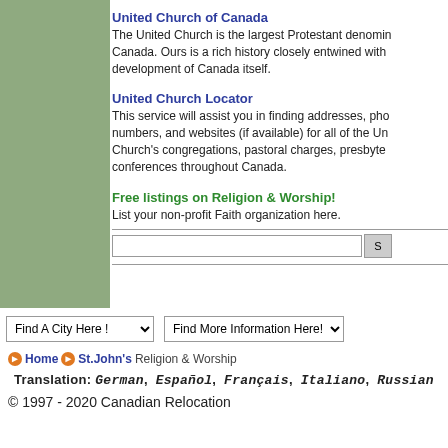[Figure (other): Green sidebar panel on the left side of the page]
United Church of Canada
The United Church is the largest Protestant denomination in Canada. Ours is a rich history closely entwined with the development of Canada itself.
United Church Locator
This service will assist you in finding addresses, phone numbers, and websites (if available) for all of the United Church's congregations, pastoral charges, presbyteries and conferences throughout Canada.
Free listings on Religion & Worship!
List your non-profit Faith organization here.
Find A City Here !   Find More Information Here!
Home  St.John's Religion & Worship
Translation: German, Español, Français, Italiano, Russian
© 1997 - 2020 Canadian Relocation